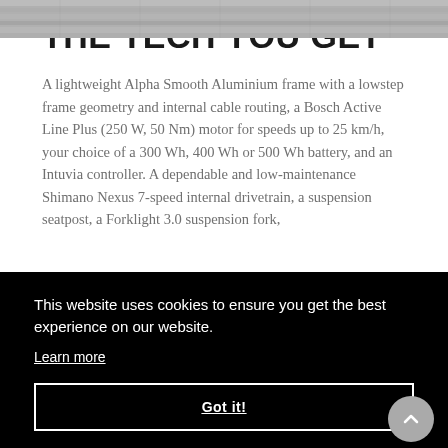[Figure (photo): Partial top strip showing a roof or textured surface, gray tones]
THE TECH YOU GET
A lightweight Alpha Smooth Aluminium frame with a lowstep frame geometry and internal cable routing, a Bosch Active Line Plus (250 W, 50 Nm) motor for speeds up to 25 km/h, your choice of a 300 Wh, 400 Wh or 500 Wh battery, and an Intuvia controller. A dependable and low-maintenance Shimano Nexus 7-speed internal drivetrain, a suspension seatpost, a Forklight 3.0 suspension fork,
This website uses cookies to ensure you get the best experience on our website.
Learn more
Got it!
quicker acceleration and thoughtful details that make a big